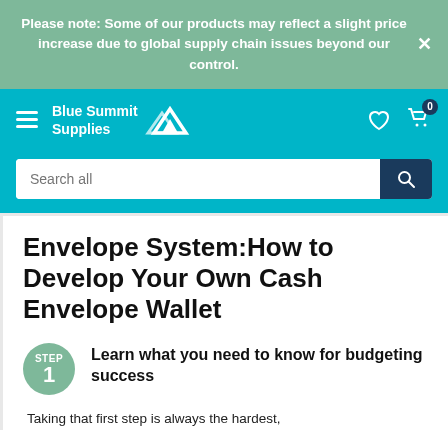Please note: Some of our products may reflect a slight price increase due to global supply chain issues beyond our control.
[Figure (logo): Blue Summit Supplies logo with mountain chevron icon and navigation bar with hamburger menu, heart icon, and cart icon showing 0 items, plus search bar]
Envelope System:How to Develop Your Own Cash Envelope Wallet
STEP 1 — Learn what you need to know for budgeting success
Taking that first step is always the hardest,